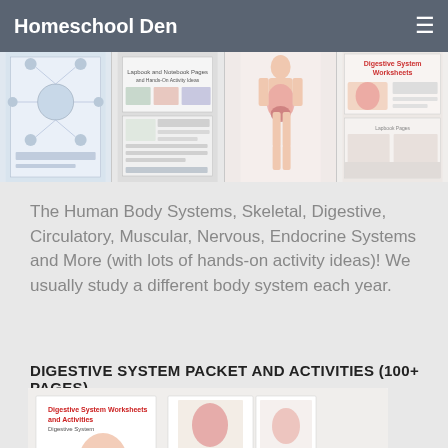Homeschool Den
[Figure (photo): Strip of four educational worksheet and human body system images]
The Human Body Systems, Skeletal, Digestive, Circulatory, Muscular, Nervous, Endocrine Systems and More (with lots of hands-on activity ideas)! We usually study a different body system each year.
DIGESTIVE SYSTEM PACKET AND ACTIVITIES (100+ PAGES)
[Figure (photo): Digestive System Worksheets and Activities packet cover and sample pages spread out]